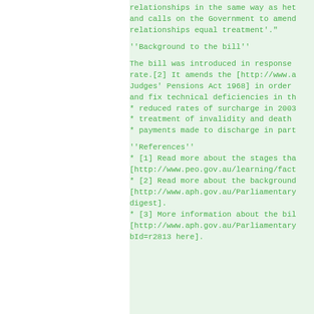relationships in the same way as het
and calls on the Government to amend
relationships equal treatment'."
''Background to the bill''
The bill was introduced in response
rate.[2] It amends the [http://www.a
Judges' Pensions Act 1968] in order
and fix technical deficiencies in th
* reduced rates of surcharge in 2003
* treatment of invalidity and death
* payments made to discharge in part
''References''
* [1] Read more about the stages tha
[http://www.peo.gov.au/learning/fact
* [2] Read more about the background
[http://www.aph.gov.au/Parliamentary
digest].
* [3] More information about the bil
[http://www.aph.gov.au/Parliamentary
bId=r2813 here].